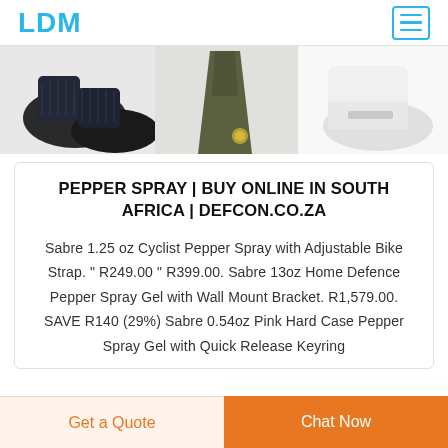LDM
[Figure (photo): Product image strip showing dark sneakers on the left, an olive/green folded tie or fabric item in the center, and a white shoe on the right.]
PEPPER SPRAY | BUY ONLINE IN SOUTH AFRICA | DEFCON.CO.ZA
Sabre 1.25oz Cyclist Pepper Spray with Adjustable Bike Strap. " R249.00 " R399.00. Sabre 13oz Home Defence Pepper Spray Gel with Wall Mount Bracket. R1,579.00. SAVE R140 (29%) Sabre 0.54oz Pink Hard Case Pepper Spray Gel with Quick Release Keyring
Get a Quote
Chat Now